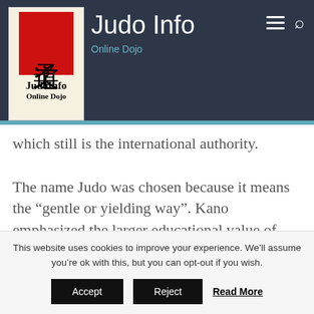[Figure (logo): JudoInfo Online Dojo logo with red kanji block and site title 'Judo Info / Online Dojo' on dark navy header background with hamburger menu and search icons]
which still is the international authority.
The name Judo was chosen because it means the “gentle or yielding way”. Kano emphasized the larger educational value of training in attack and defense so that it could be a path or way of life that
This website uses cookies to improve your experience. We’ll assume you’re ok with this, but you can opt-out if you wish.